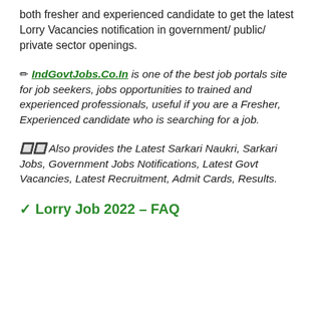both fresher and experienced candidate to get the latest Lorry Vacancies notification in government/ public/ private sector openings.
✏ IndGovtJobs.Co.In is one of the best job portals site for job seekers, jobs opportunities to trained and experienced professionals, useful if you are a Fresher, Experienced candidate who is searching for a job.
🔲🔲 Also provides the Latest Sarkari Naukri, Sarkari Jobs, Government Jobs Notifications, Latest Govt Vacancies, Latest Recruitment, Admit Cards, Results.
✓ Lorry Job 2022 – FAQ